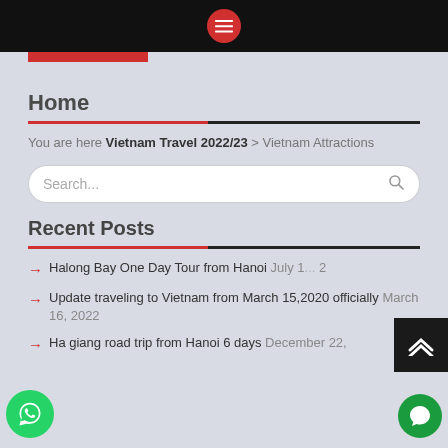Menu button (hamburger) in red circle on black top bar
Home
You are here Vietnam Travel 2022/23 > Vietnam Attractions
Search...
Recent Posts
Halong Bay One Day Tour from Hanoi July 1[2], 2[022]
Update traveling to Vietnam from March 15,2020 officially March 16, 2022
Ha giang road trip from Hanoi 6 days December 22,